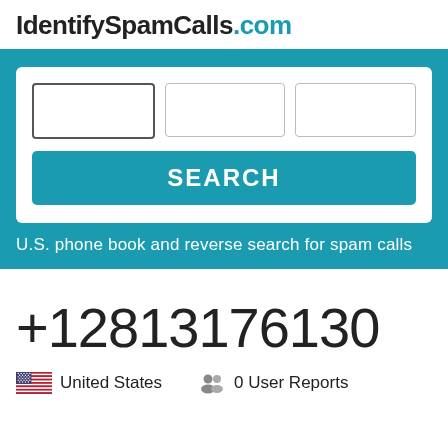IdentifySpamCalls.com
[Figure (screenshot): Search form with three input fields and a SEARCH button on a teal background]
U.S. phone book and reverse search for spam calls
+12813176130
United States
0 User Reports